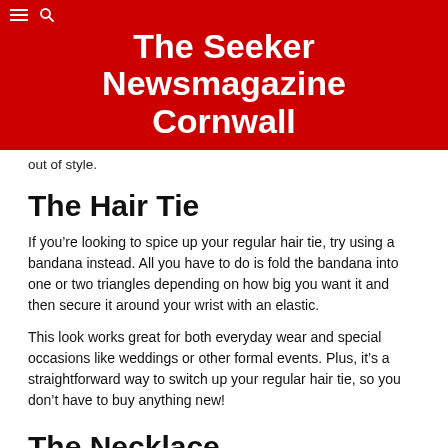The Seeker Newsmagazine Cornwall
out of style.
The Hair Tie
If you’re looking to spice up your regular hair tie, try using a bandana instead. All you have to do is fold the bandana into one or two triangles depending on how big you want it and then secure it around your wrist with an elastic.
This look works great for both everyday wear and special occasions like weddings or other formal events. Plus, it’s a straightforward way to switch up your regular hair tie, so you don’t have to buy anything new!
The Necklace